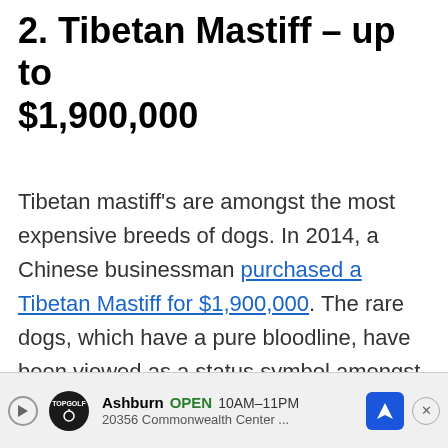2. Tibetan Mastiff – up to $1,900,000
Tibetan mastiff's are amongst the most expensive breeds of dogs. In 2014, a Chinese businessman purchased a Tibetan Mastiff for $1,900,000. The rare dogs, which have a pure bloodline, have been viewed as a status symbol amongst the Chinese elite. Tibetan Mastiff's are large powerful dogs with beautiful lion-like manes. Breeders des[cribe them as a 'god'] and [something]h